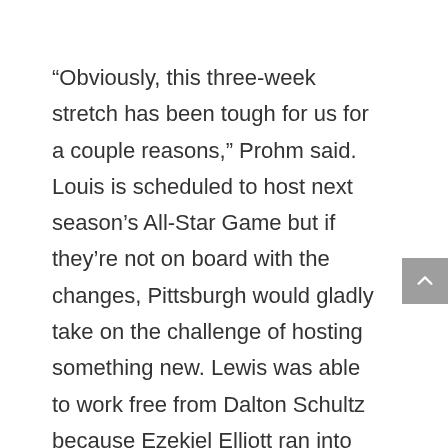“Obviously, this three-week stretch has been tough for us for a couple reasons,” Prohm said. Louis is scheduled to host next season’s All-Star Game but if they’re not on board with the changes, Pittsburgh would gladly take on the challenge of hosting something new. Lewis was able to work free from Dalton Schultz because Ezekiel Elliott ran into Wholesale NFL Jerseys Nike Schultz, allowing Lewis to escape from the block. I thought maybe there’d be one of the real premier jobs or Wholesale NFL Jerseys Nike